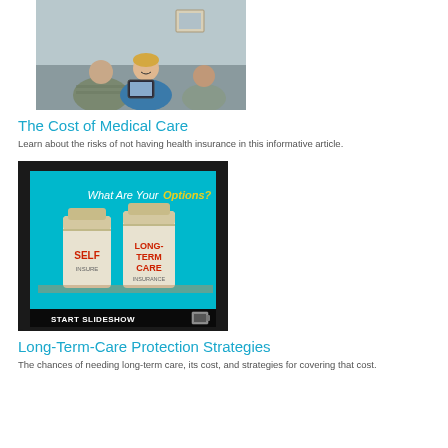[Figure (photo): Healthcare professional in blue scrubs with a tablet speaking with patients]
The Cost of Medical Care
Learn about the risks of not having health insurance in this informative article.
[Figure (photo): Tablet screen showing slideshow with pill bottles labeled SELF and LONG-TERM CARE with text 'What Are Your Options?' and 'START SLIDESHOW' banner]
Long-Term-Care Protection Strategies
The chances of needing long-term care, its cost, and strategies for covering that cost.